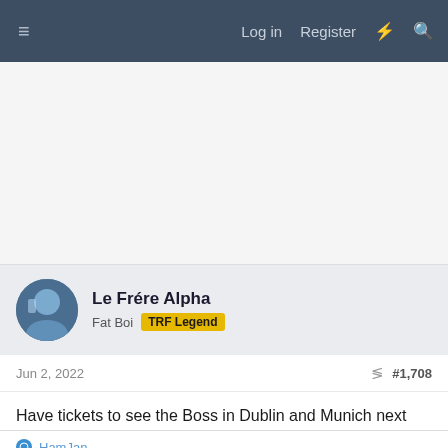≡  Log in  Register  ⚡  🔍
[Figure (other): Advertisement / blank white space area]
Le Frére Alpha
Fat Boi  TRF Legend
Jun 2, 2022  #1,708
Have tickets to see the Boss in Dublin and Munich next year. Its going to be incredible.
Reply
HamJan